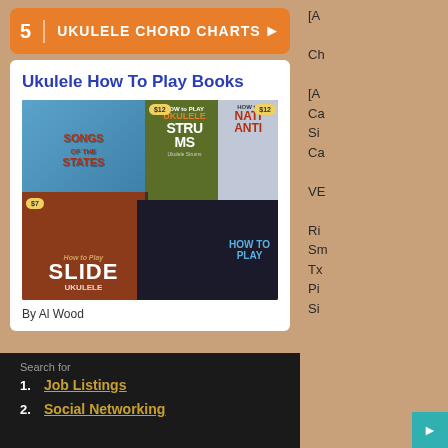5 UKULELE CHORD CHARTS
Ukulele How To Play Books
[Figure (photo): Collection of ukulele instructional book covers: Songs of the States, How to Play Ukulele Strums ($12), How to National Anthem, How to Play Slide Ukulele ($7), How to Play (dark cover)]
By Al Wood
Search for
1. Job Listings
2. Social Networking
[A
Ch
[A
Ca
Si
Ca
VE
Ri
Sm
Tx
Pi
Si